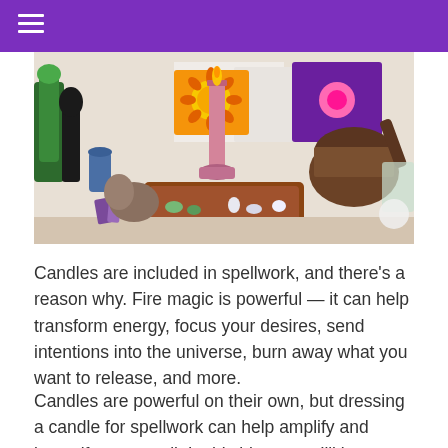[Figure (photo): A witchcraft altar with a lit pink candle on a carved wooden board surrounded by crystals and gemstones, colorful artwork cards in the background, and a mortar and pestle on the right side.]
Candles are included in spellwork, and there's a reason why. Fire magic is powerful — it can help transform energy, focus your desires, send intentions into the universe, burn away what you want to release, and more.
Candles are powerful on their own, but dressing a candle for spellwork can help amplify and intensify your spell. In this blog post, I'll be breaking down how